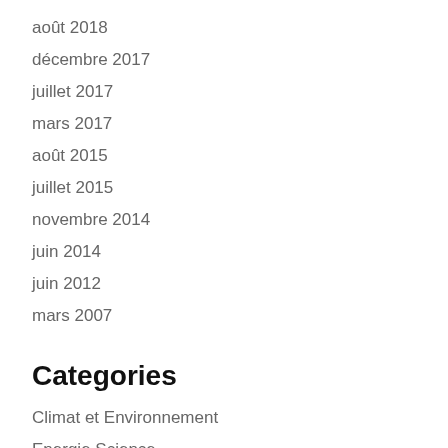août 2018
décembre 2017
juillet 2017
mars 2017
août 2015
juillet 2015
novembre 2014
juin 2014
juin 2012
mars 2007
Categories
Climat et Environnement
Energie Science